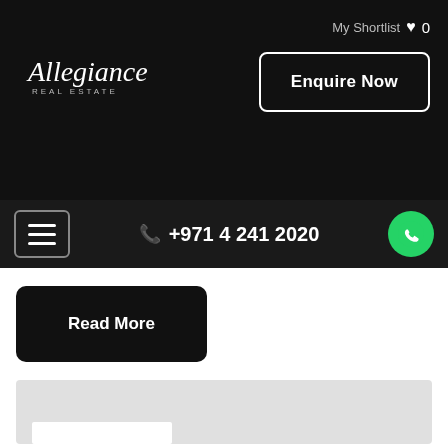Allegiance REAL ESTATE
My Shortlist ♥ 0
Enquire Now
☰ +971 4 241 2020
Read More
[Figure (map): Embedded grey map placeholder area with a white label bar at the bottom left]